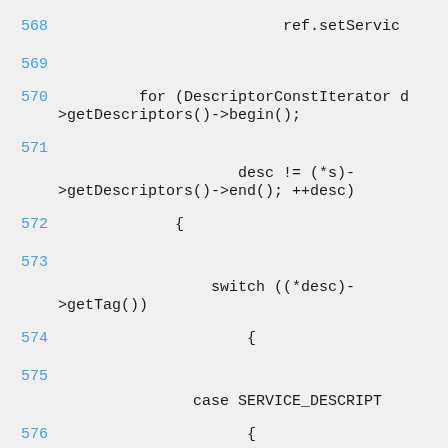568  ref.setService
569
570      for (DescriptorConstIterator d
>getDescriptors()->begin();
571
                         desc != (*s)-
>getDescriptors()->end(); ++desc)
572          {
573
              switch ((*desc)-
>getTag())
574                  {
575
                case SERVICE_DESCRIPT
576                      {
577
                          ServiceDescrip
578